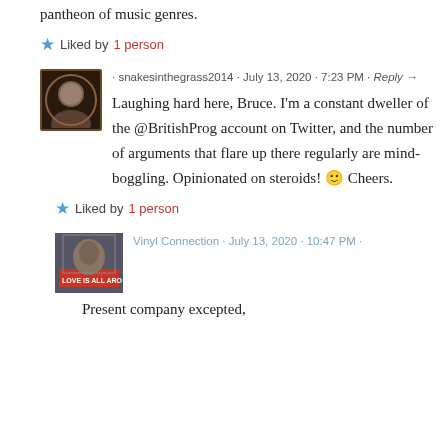pantheon of music genres.
Liked by 1 person
snakesinthegrass2014 · July 13, 2020 · 7:23 PM · Reply →
Laughing hard here, Bruce. I'm a constant dweller of the @BritishProg account on Twitter, and the number of arguments that flare up there regularly are mind-boggling. Opinionated on steroids! 🙂 Cheers.
Liked by 1 person
Vinyl Connection · July 13, 2020 · 10:47 PM ·
Present company excepted,